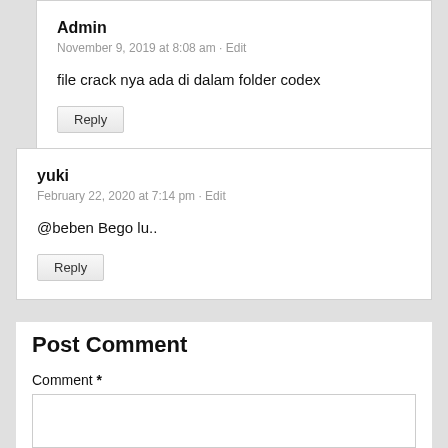Admin
November 9, 2019 at 8:08 am · Edit
file crack nya ada di dalam folder codex
Reply
yuki
February 22, 2020 at 7:14 pm · Edit
@beben Bego lu..
Reply
Post Comment
Comment *